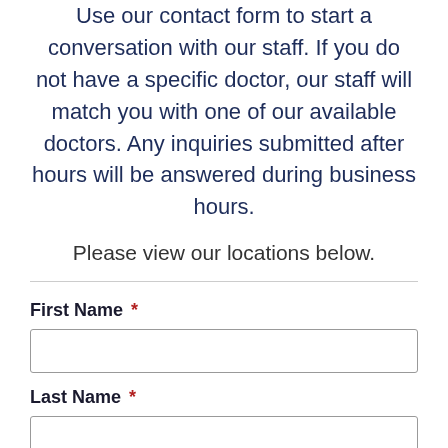Use our contact form to start a conversation with our staff. If you do not have a specific doctor, our staff will match you with one of our available doctors. Any inquiries submitted after hours will be answered during business hours.
Please view our locations below.
First Name *
Last Name *